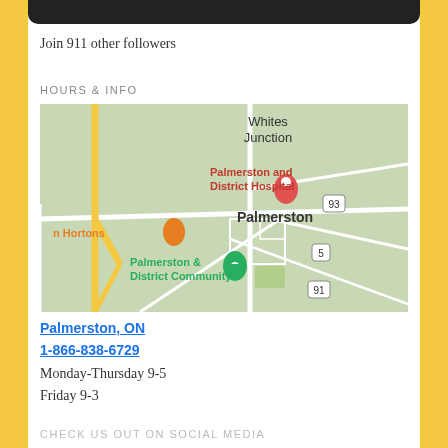Join 911 other followers
HOURS & INFO
[Figure (map): Google Maps screenshot showing Palmerston, ON area with markers for Palmerston and District Hospital (red pin) and Palmerston & District Community... (green pin), and Tim Hortons (orange pin). Roads include Highway 93, Highway 5, Highway 91. Whites Junction labeled at top.]
Palmerston, ON
1-866-838-6729
Monday-Thursday 9-5
Friday 9-3
CHECK US OUT ON SOCIAL MEDIA